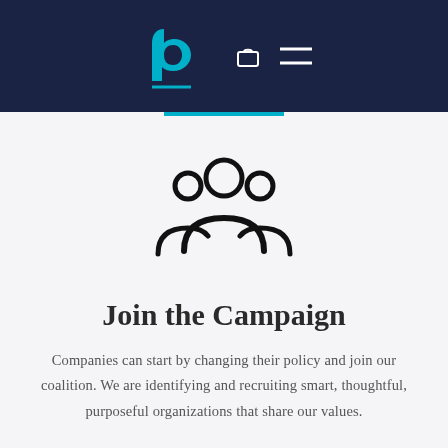bc logo, navigation icons
[Figure (logo): Group of people icon (three figures silhouette) in black]
Join the Campaign
Companies can start by changing their policy and join our coalition. We are identifying and recruiting smart, thoughtful, purposeful organizations that share our values.